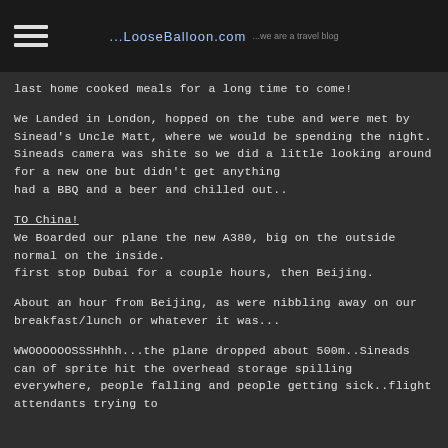...LooseBalloon.com  [subtitle text]
last home cooked meals for a long time to come!
We Landed in London, hopped on the tube and were met by Sinead's Uncle Matt, where we would be spending the night. Sineads camera was shite so we did a little looking around for a new one but didn't get anything
had a BBQ and a beer and chilled out..
TO China!
We Boarded our plane the new A380, big on the outside normal on the inside.
first stop Dubai for a couple hours, then Beijing.
About an hour from Beijing, as were nibbling away on our breakfast/lunch or whatever it was...
WWOOOOOOSSSHhhh...the plane dropped about 500m..Sineads can of sprite hit the overhead storage spilling everywhere, people falling and people getting sick..flight attendants trying to